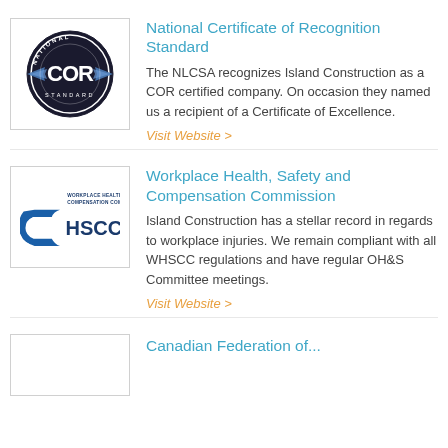[Figure (logo): COR National Standard circular logo with wings]
National Certificate of Recognition Standard
The NLCSA recognizes Island Construction as a COR certified company. On occasion they named us a recipient of a Certificate of Excellence.
Visit Website >
[Figure (logo): WHSCC Workplace Health, Safety & Compensation Commission logo]
Workplace Health, Safety and Compensation Commission
Island Construction has a stellar record in regards to workplace injuries. We remain compliant with all WHSCC regulations and have regular OH&S Committee meetings.
Visit Website >
[Figure (logo): Canadian Federation logo (partially visible)]
Canadian Federation of...